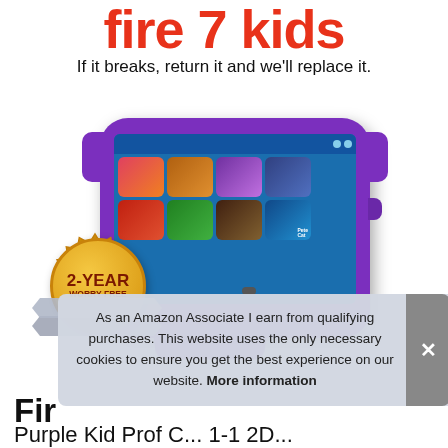fire 7 kids
If it breaks, return it and we'll replace it.
[Figure (photo): Amazon Fire 7 Kids tablet in purple protective case shown at an angle, with kids content visible on screen. A 2-Year Worry-Free badge is overlaid in the lower left corner.]
As an Amazon Associate I earn from qualifying purchases. This website uses the only necessary cookies to ensure you get the best experience on our website. More information
Fir
Purple Kid Prof C... 1-1 2D...